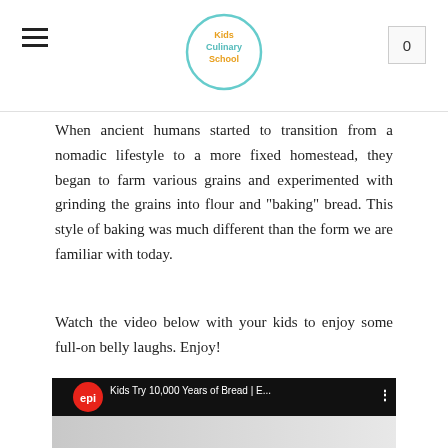Kids Culinary School
When ancient humans started to transition from a nomadic lifestyle to a more fixed homestead, they began to farm various grains and experimented with grinding the grains into flour and "baking" bread. This style of baking was much different than the form we are familiar with today.
Watch the video below with your kids to enjoy some full-on belly laughs. Enjoy!
[Figure (screenshot): YouTube video thumbnail showing the word BREAD in large brown letters with the Epicurious (epi) red logo and video title 'Kids Try 10,000 Years of Bread | E...' with a YouTube play button overlay]